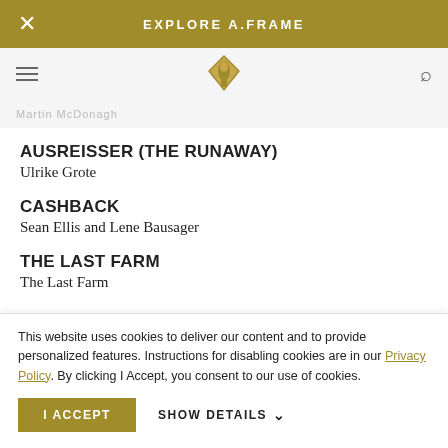EXPLORE A.FRAME
AUSREISSER (THE RUNAWAY)
Ulrike Grote
CASHBACK
Sean Ellis and Lene Bausager
THE LAST FARM
The Last Farm
OUR TIME IS UP
Rob Pearlstein and Pia Clemente
SOUND EDITING
This website uses cookies to deliver our content and to provide personalized features. Instructions for disabling cookies are in our Privacy Policy. By clicking I Accept, you consent to our use of cookies.